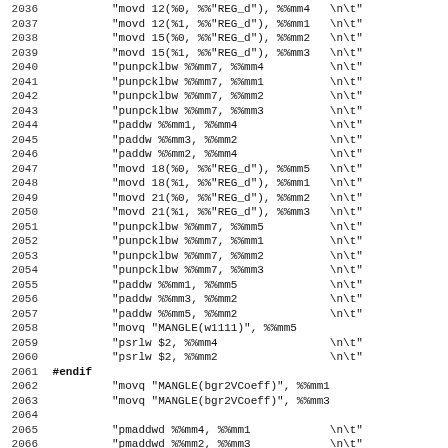Source code listing lines 2036-2067 showing x86 assembly/C preprocessor code with MMX instructions including movd, punpcklbw, paddw, psrlw, pmaddwd operations and MANGLE macros with #endif directive